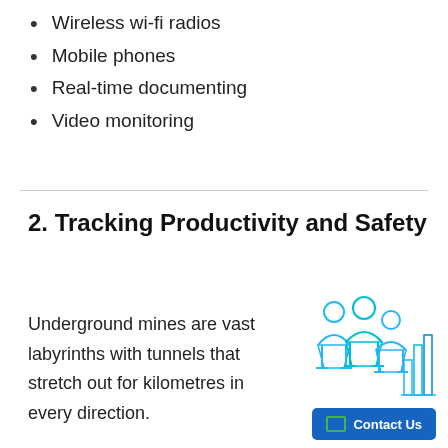Wireless wi-fi radios
Mobile phones
Real-time documenting
Video monitoring
2. Tracking Productivity and Safety
Underground mines are vast labyrinths with tunnels that stretch out for kilometres in every direction.
[Figure (illustration): Isometric illustration of people and a bar chart in cyan/blue tones representing productivity tracking]
Contact Us